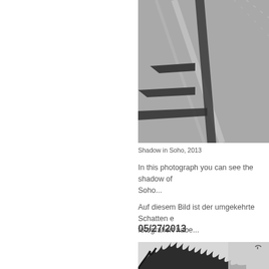[Figure (photo): Black and white photograph of a shadow of a street sign on pavement, taken in Soho, 2013]
Shadow in Soho, 2013
In this photograph you can see the shadow of ... Soho...
Auf diesem Bild ist der umgekehrte Schatten e... fotografiert habe...
05/27/2013
[Figure (photo): Black and white photograph of tree branches against a light sky]